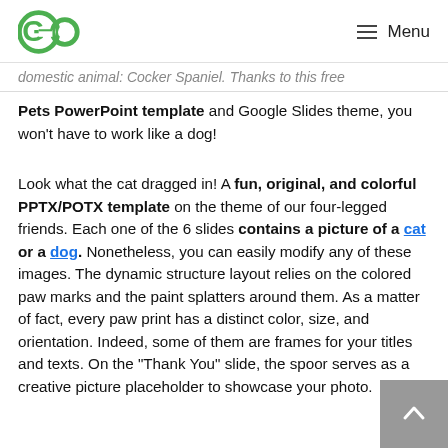GO | Menu
domestic animal: Cocker Spaniel. Thanks to this free Pets PowerPoint template and Google Slides theme, you won't have to work like a dog!
Look what the cat dragged in! A fun, original, and colorful PPTX/POTX template on the theme of our four-legged friends. Each one of the 6 slides contains a picture of a cat or a dog. Nonetheless, you can easily modify any of these images. The dynamic structure layout relies on the colored paw marks and the paint splatters around them. As a matter of fact, every paw print has a distinct color, size, and orientation. Indeed, some of them are frames for your titles and texts. On the “Thank You” slide, the spoor serves as a creative picture placeholder to showcase your photo.